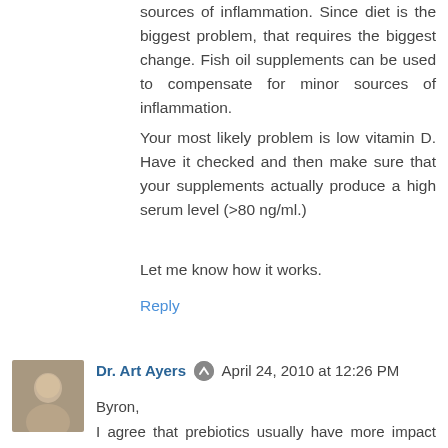sources of inflammation. Since diet is the biggest problem, that requires the biggest change. Fish oil supplements can be used to compensate for minor sources of inflammation.
Your most likely problem is low vitamin D. Have it checked and then make sure that your supplements actually produce a high serum level (>80 ng/ml.)
Let me know how it works.
Reply
Dr. Art Ayers  April 24, 2010 at 12:26 PM
Byron,
I agree that prebiotics usually have more impact than probiotics. I prefer the pectin/inulin combo in apples and leeks, but each flora to its own.
I also find quercetin to be kind of magical. Mast cells are also favorites, because they secrete heparin to charge-neutralize histamine.